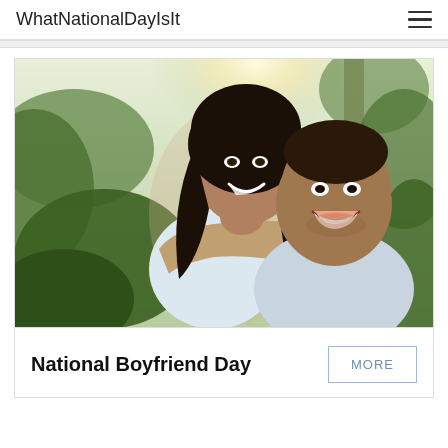WhatNationalDayIsIt
[Figure (photo): A smiling couple outdoors. A woman with long dark hair is hugging a man from behind, both laughing. Bright sunlight and green foliage in the background.]
National Boyfriend Day
MORE